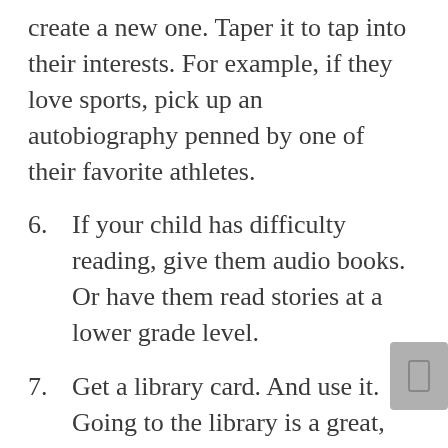create a new one. Taper it to tap into their interests. For example, if they love sports, pick up an autobiography penned by one of their favorite athletes.
6. If your child has difficulty reading, give them audio books. Or have them read stories at a lower grade level.
7. Get a library card. And use it. Going to the library is a great, fat-free, low cost, healthy habit.
Of course, reading off Kindles, iPads and other devices is okay; however, in our hyper fast-paced, electronic-laden lifestyles, is there any better way to escape the rat race than by losing oneself